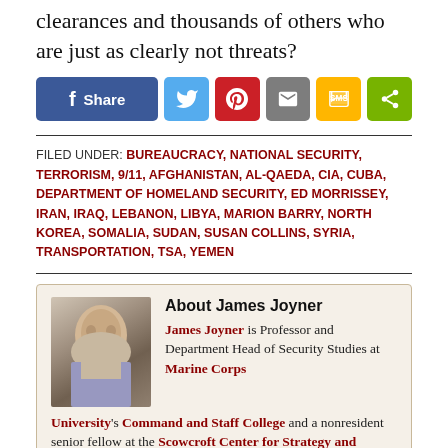clearances and thousands of others who are just as clearly not threats?
[Figure (infographic): Social share buttons: Facebook Share, Twitter, Pinterest, Email, SMS, Share]
FILED UNDER: BUREAUCRACY, NATIONAL SECURITY, TERRORISM, 9/11, AFGHANISTAN, AL-QAEDA, CIA, CUBA, DEPARTMENT OF HOMELAND SECURITY, ED MORRISSEY, IRAN, IRAQ, LEBANON, LIBYA, MARION BARRY, NORTH KOREA, SOMALIA, SUDAN, SUSAN COLLINS, SYRIA, TRANSPORTATION, TSA, YEMEN
About James Joyner. James Joyner is Professor and Department Head of Security Studies at Marine Corps University's Command and Staff College and a nonresident senior fellow at the Scowcroft Center for Strategy and Security at the Atlantic Council. He's a former Army officer and Desert Storm vet. Views expressed